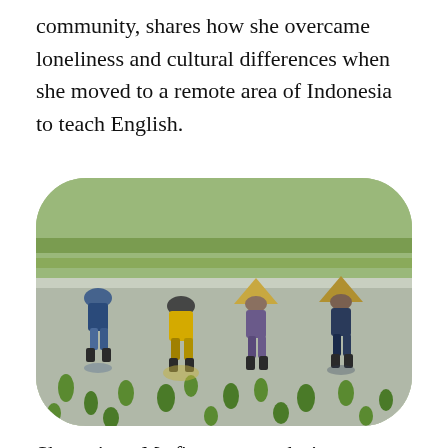community, shares how she overcame loneliness and cultural differences when she moved to a remote area of Indonesia to teach English.
[Figure (photo): Four farmers bent over planting rice seedlings in a flooded rice paddy field, with green rice plants and reflections visible in the water. The image has rounded corners.]
She writes: My first two weeks in Singkawang, West Kalimantan, were traumatic. …
It took two weeks, but finally I turned to prayer. And